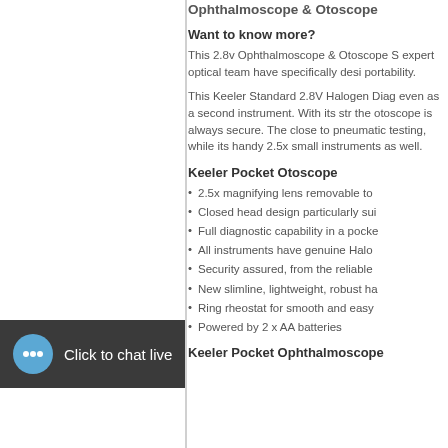Ophthalmoscope & Otoscope
Want to know more?
This 2.8v Ophthalmoscope & Otoscope S expert optical team have specifically desi portability.
This Keeler Standard 2.8V Halogen Diag even as a second instrument. With its str the otoscope is always secure. The close to pneumatic testing, while its handy 2.5x small instruments as well.
Keeler Pocket Otoscope
2.5x magnifying lens removable to
Closed head design particularly sui
Full diagnostic capability in a pocke
All instruments have genuine Halo
Security assured, from the reliable
New slimline, lightweight, robust ha
Ring rheostat for smooth and easy
Powered by 2 x AA batteries
Keeler Pocket Ophthalmoscope
[Figure (screenshot): Click to chat live button with speech bubble icon on dark background]